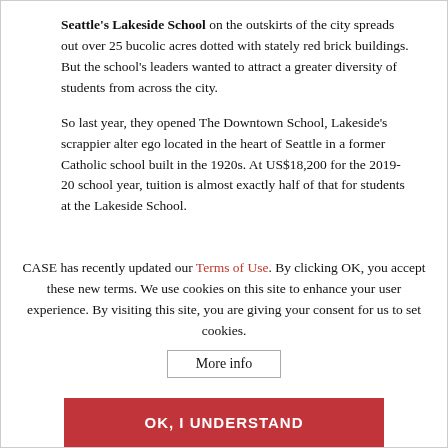Seattle's Lakeside School on the outskirts of the city spreads out over 25 bucolic acres dotted with stately red brick buildings. But the school's leaders wanted to attract a greater diversity of students from across the city.
So last year, they opened The Downtown School, Lakeside's scrappier alter ego located in the heart of Seattle in a former Catholic school built in the 1920s. At US$18,200 for the 2019-20 school year, tuition is almost exactly half of that for students at the Lakeside School.
CASE has recently updated our Terms of Use. By clicking OK, you accept these new terms. We use cookies on this site to enhance your user experience. By visiting this site, you are giving your consent for us to set cookies.
More info
OK, I UNDERSTAND